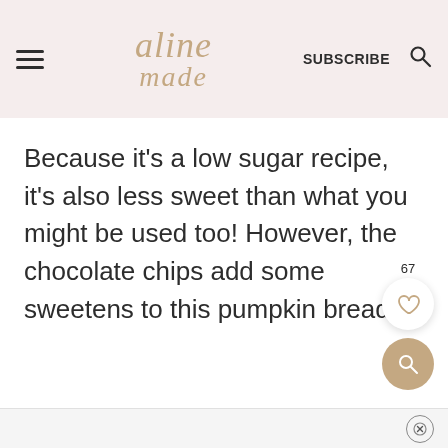aline made | SUBSCRIBE
Because it’s a low sugar recipe, it’s also less sweet than what you might be used too! However, the chocolate chips add some sweetens to this pumpkin bread.
[Figure (other): Like/heart button with count 67 and a search button]
Ad close button